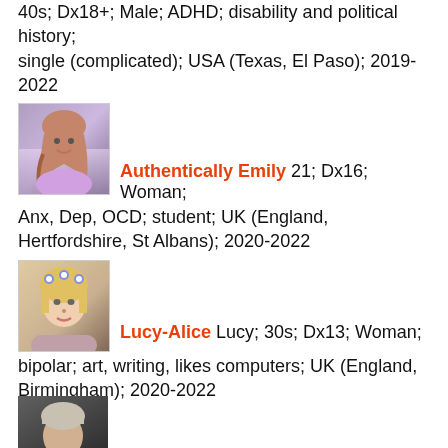40s; Dx18+; Male; ADHD; disability and political history; single (complicated); USA (Texas, El Paso); 2019-2022
Authentically Emily 21; Dx16; Woman; Anx, Dep, OCD; student; UK (England, Hertfordshire, St Albans); 2020-2022
[Figure (photo): Profile photo of Authentically Emily - young woman with braided hair outdoors in lavender field]
Lucy-Alice Lucy; 30s; Dx13; Woman; bipolar; art, writing, likes computers; UK (England, Birmingham); 2020-2022
[Figure (photo): Profile photo of Lucy-Alice - blonde woman with flower crown]
Nothing Radical 20s; Dx19; Non-binary (they/them); software engineer; USA; 2020-2022
[Figure (logo): Infinity symbol with rainbow gradient colors used as profile image for Nothing Radical]
[Figure (photo): Partial profile photo at bottom of page - person with short light hair]